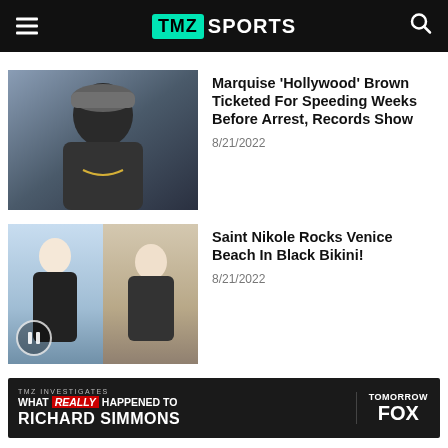TMZ SPORTS
[Figure (photo): Young Black man wearing a grey beanie hat and chain necklace, looking to the side]
Marquise 'Hollywood' Brown Ticketed For Speeding Weeks Before Arrest, Records Show
8/21/2022
[Figure (photo): Two photos of Saint Nikole, a blonde woman, posing in a black bikini at Venice Beach]
Saint Nikole Rocks Venice Beach In Black Bikini!
8/21/2022
[Figure (infographic): TMZ Investigates ad banner: WHAT REALLY HAPPENED TO RICHARD SIMMONS – TOMORROW FOX]